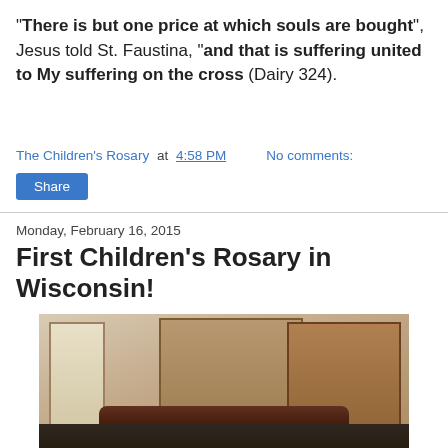"There is but one price at which souls are bought", Jesus told St. Faustina, "and that is suffering united to My suffering on the cross" (Dairy 324).
The Children's Rosary at 4:58 PM   No comments:
Share
Monday, February 16, 2015
First Children's Rosary in Wisconsin!
[Figure (photo): Interior of a Catholic church showing ornate wooden altars and pews with children gathered for a rosary event.]